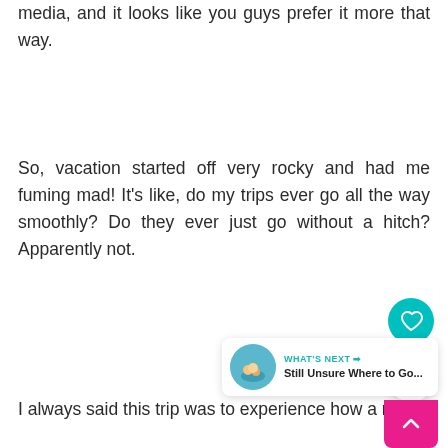media, and it looks like you guys prefer it more that way.
So, vacation started off very rocky and had me fuming mad! It's like, do my trips ever go all the way smoothly? Do they ever just go without a hitch? Apparently not.
I always said this trip was to experience how a real...